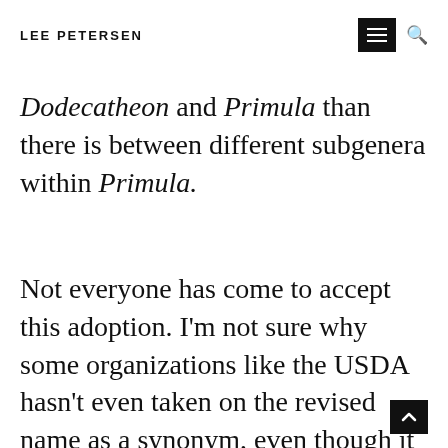LEE PETERSEN
Dodecatheon and Primula than there is between different subgenera within Primula.
Not everyone has come to accept this adoption. I'm not sure why some organizations like the USDA hasn't even taken on the revised name as a synonym, even though it is the accepted name in the ITIS database, and Flora of North America lists Primula frigida as a